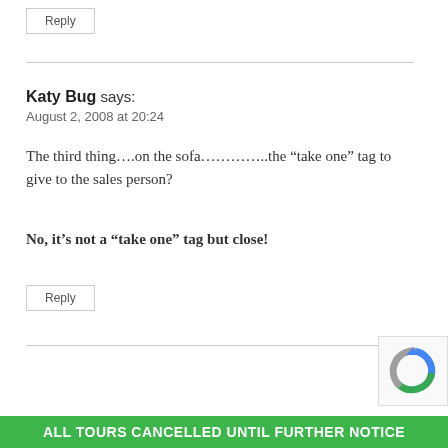Reply
Katy Bug says:
August 2, 2008 at 20:24
The third thing….on the sofa…………..the “take one” tag to give to the sales person?
No, it’s not a “take one” tag but close!
Reply
ALL TOURS CANCELLED UNTIL FURTHER NOTICE